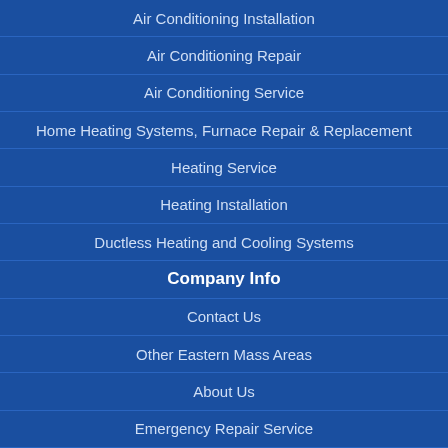Air Conditioning Installation
Air Conditioning Repair
Air Conditioning Service
Home Heating Systems, Furnace Repair & Replacement
Heating Service
Heating Installation
Ductless Heating and Cooling Systems
Company Info
Contact Us
Other Eastern Mass Areas
About Us
Emergency Repair Service